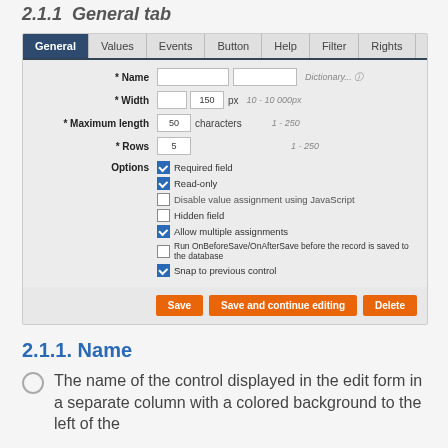2.1.1 General tab
[Figure (screenshot): UI screenshot showing a form with tabs: General (active), Values, Events, Button, Help, Filter, Rights. Form fields include Name, Width (150 px, 10-10 000px), Maximum length (50 characters, 1-250), Rows (5, 1-250). Options section with checkboxes: Required field (checked), Read-only (checked), Disable value assignment using JavaScript (unchecked), Hidden field (unchecked), Allow multiple assignments (checked), Run OnBeforeSave/OnAfterSave before the record is saved to the database (unchecked), Snap to previous control (checked). Buttons at bottom: Save, Save and continue editing, Delete.]
2.1.1. Name
The name of the control displayed in the edit form in a separate column with a colored background to the left of the